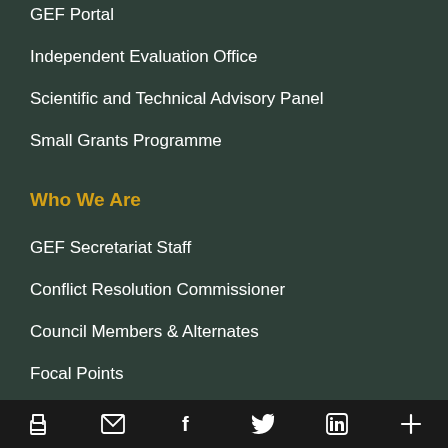GEF Portal
Independent Evaluation Office
Scientific and Technical Advisory Panel
Small Grants Programme
Who We Are
GEF Secretariat Staff
Conflict Resolution Commissioner
Council Members & Alternates
Focal Points
Careers
I...
Social share icons: print, email, facebook, twitter, linkedin, more